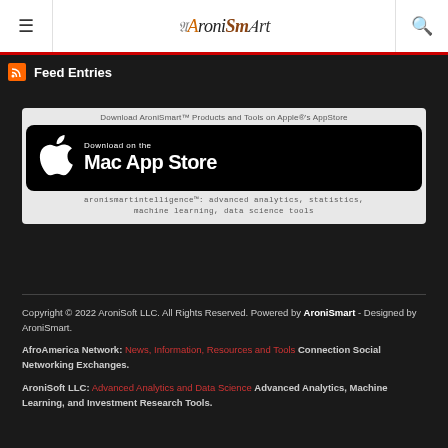≡  AroniSmart  🔍
Feed Entries
[Figure (screenshot): Mac App Store download banner for AroniSmart products. Top text: 'Download AroniSmart™ Products and Tools on Apple®'s AppStore'. Black rounded rectangle with Apple logo and text 'Download on the Mac App Store'. Bottom text: 'aronismartintelligence™: advanced analytics, statistics, machine learning, data science tools']
Copyright © 2022 AroniSoft LLC. All Rights Reserved. Powered by AroniSmart - Designed by AroniSmart.
AfroAmerica Network: News, Information, Resources and Tools Connection Social Networking Exchanges.
AroniSoft LLC: Advanced Analytics and Data Science Advanced Analytics, Machine Learning, and Investment Research Tools.